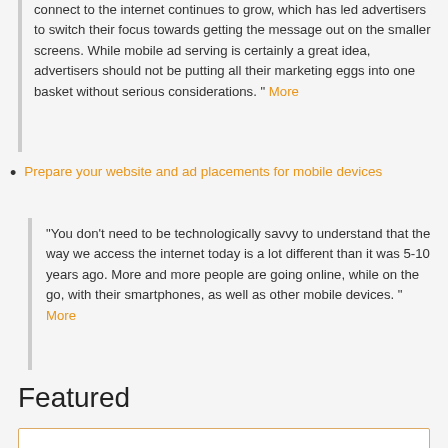connect to the internet continues to grow, which has led advertisers to switch their focus towards getting the message out on the smaller screens. While mobile ad serving is certainly a great idea, advertisers should not be putting all their marketing eggs into one basket without serious considerations. " More
Prepare your website and ad placements for mobile devices
"You don't need to be technologically savvy to understand that the way we access the internet today is a lot different than it was 5-10 years ago. More and more people are going online, while on the go, with their smartphones, as well as other mobile devices. " More
Featured